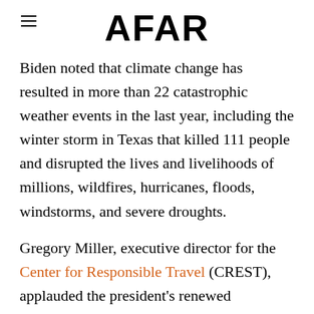AFAR
Biden noted that climate change has resulted in more than 22 catastrophic weather events in the last year, including the winter storm in Texas that killed 111 people and disrupted the lives and livelihoods of millions, wildfires, hurricanes, floods, windstorms, and severe droughts.
Gregory Miller, executive director for the Center for Responsible Travel (CREST), applauded the president's renewed commitment to the cause. "The climate crisis is the number one existential threat we...